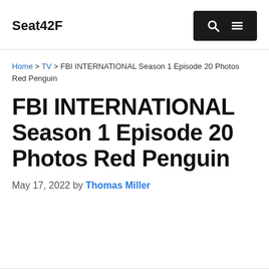Seat42F
Home > TV > FBI INTERNATIONAL Season 1 Episode 20 Photos Red Penguin
FBI INTERNATIONAL Season 1 Episode 20 Photos Red Penguin
May 17, 2022 by Thomas Miller